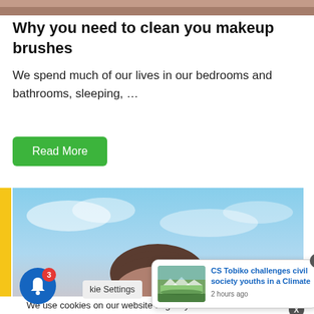[Figure (photo): Top partial image strip showing a blurred/cropped photo background]
Why you need to clean you makeup brushes
We spend much of our lives in our bedrooms and bathrooms, sleeping, …
Read More
[Figure (photo): Photo of a man's head (partially visible, shot from below) against a cloudy sky background]
We use cookies on our website to give you the most relevant experience by remembering your preferences and repeat visits. By clicking “Accept All”, you consent to the use of ALL the cookies. However, you may visit “Cookie Settings” to pro…
[Figure (photo): Small thumbnail photo of an outdoor event/gathering on grass with tents]
CS Tobiko challenges civil society youths in a Climate
2 hours ago
kie Settings